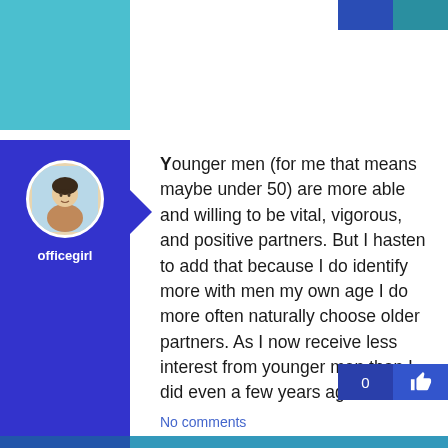[Figure (screenshot): Top section with teal avatar block and dark/teal action buttons in top right corner]
[Figure (photo): User avatar - cartoon illustration of a person]
officegirl
Younger men (for me that means maybe under 50) are more able and willing to be vital, vigorous, and positive partners. But I hasten to add that because I do identify more with men my own age I do more often naturally choose older partners. As I now receive less interest from younger men than I did even a few years ago.
No comments